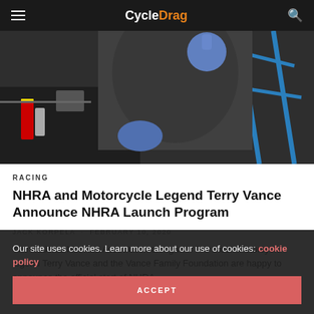CycleDrag
[Figure (photo): Person in dark clothing and blue gloves giving thumbs up near a motorcycle frame in a garage/workshop setting]
RACING
NHRA and Motorcycle Legend Terry Vance Announce NHRA Launch Program
JACK KORPELA  -  FEBRUARY 10, 2020
The National Hot Rod Association along with Pro Stock Motorcycle legend Terry Vance and the Vance Family Foundation are happy to announce the official start of NHRA
Our site uses cookies. Learn more about our use of cookies: cookie policy
ACCEPT